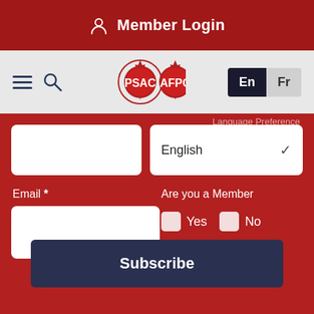Member Login
[Figure (screenshot): PSAC AFPC dual gear logo in red and white]
Language Preference
English
Email *
Are you a Member
Yes
No
Subscribe